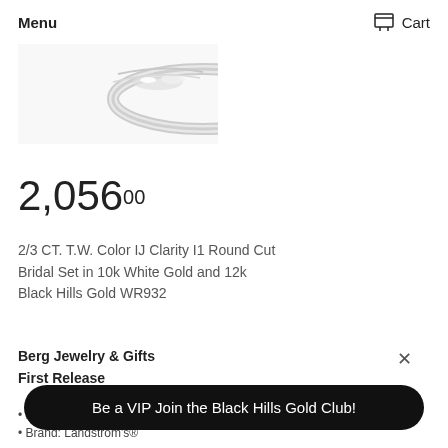Menu   Cart
[Figure (photo): Partial view of a silver/white gold ring with diamond details on a white background]
2,056.00
2/3 CT. T.W. Color IJ Clarity I1 Round Cut Bridal Set in 10k White Gold and 12k Black Hills Gold WR932
Berg Jewelry & Gifts
First Release
#In-S...
Brand: Landstrom's®
Be a VIP Join the Black Hills Gold Club!